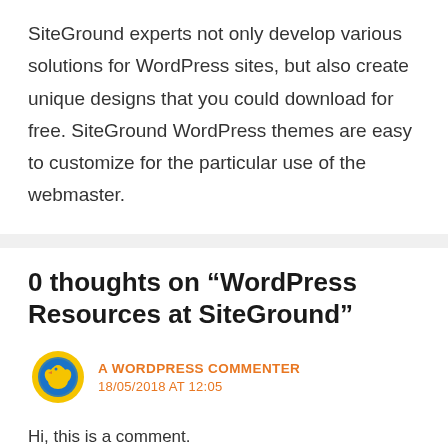SiteGround experts not only develop various solutions for WordPress sites, but also create unique designs that you could download for free. SiteGround WordPress themes are easy to customize for the particular use of the webmaster.
0 thoughts on “WordPress Resources at SiteGround”
A WORDPRESS COMMENTER
18/05/2018 AT 12:05
Hi, this is a comment.
To get started with moderating, editing, and deleting comments, please visit the Comments screen in the